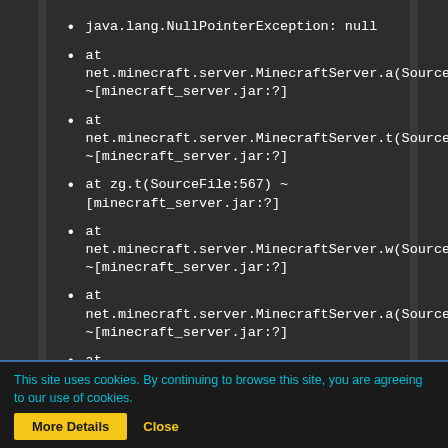java.lang.NullPointerException: null
at net.minecraft.server.MinecraftServer.a(SourceFile:572) ~[minecraft_server.jar:?]
at net.minecraft.server.MinecraftServer.t(SourceFile:599) ~[minecraft_server.jar:?]
at zg.t(SourceFile:567) ~[minecraft_server.jar:?]
at net.minecraft.server.MinecraftServer.w(SourceFile:707) ~[minecraft_server.jar:?]
at net.minecraft.server.MinecraftServer.a(SourceFile:257) ~[minecraft_server.jar:?]
at java.lang.Thread.run(Thread.java:748) [?:1.8.0_272]
Script done, file is /dev/null
Game server exited successfully...
This site uses cookies. By continuing to browse this site, you are agreeing to our use of cookies.
More Details | Close